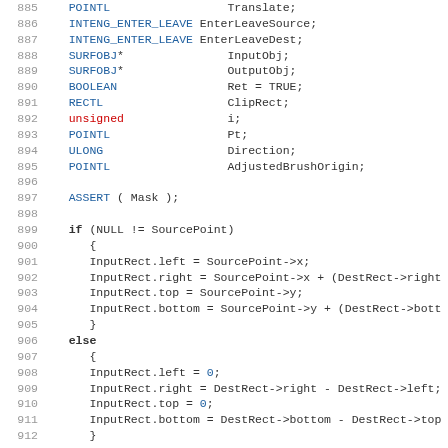[Figure (screenshot): Source code listing in monospace font with line numbers 885-917, showing C/C++ code with syntax highlighting (blue keywords, red 'unsigned', bold 'if'/'else'/'return'), variable declarations and conditional logic involving SourcePoint, InputRect, DestRect, and IntEngEnter function call.]